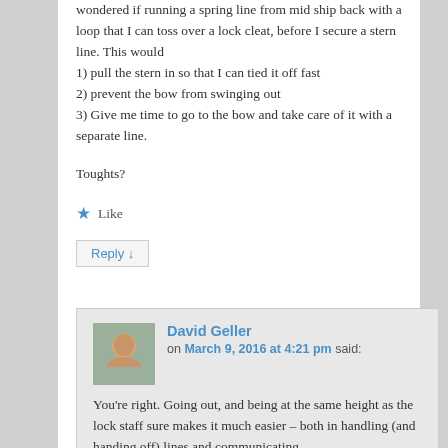wondered if running a spring line from mid ship back with a loop that I can toss over a lock cleat, before I secure a stern line. This would
1) pull the stern in so that I can tied it off fast
2) prevent the bow from swinging out
3) Give me time to go to the bow and take care of it with a separate line.
Toughts?
Like
Reply ↓
David Geller
on March 9, 2016 at 4:21 pm said:
You're right. Going out, and being at the same height as the lock staff sure makes it much easier – both in handling (and handing off) lines and communicating.